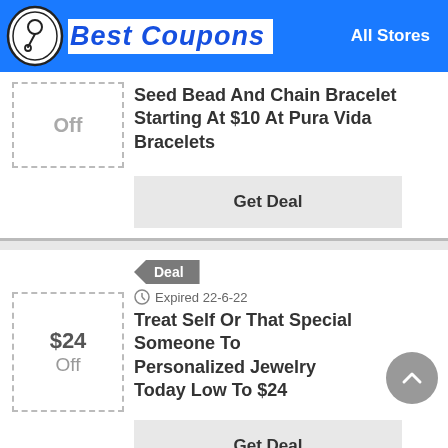Best Coupons — All Stores
Off
Seed Bead And Chain Bracelet Starting At $10 At Pura Vida Bracelets
Get Deal
Deal
Expired 22-6-22
$24 Off
Treat Self Or That Special Someone To Personalized Jewelry Today Low To $24
Get Deal